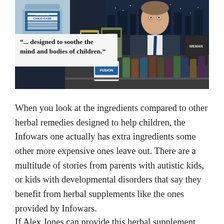[Figure (screenshot): TV screenshot showing a man in a suit holding up Infowars products on a desk with many supplement bottles, with a quote overlay reading '"... designed to soothe the mind and bodies of children."' and a bottle labeled 'Child Ease' visible in the upper left.]
When you look at the ingredients compared to other herbal remedies designed to help children, the Infowars one actually has extra ingredients some other more expensive ones leave out. There are a multitude of stories from parents with autistic kids, or kids with developmental disorders that say they benefit from herbal supplements like the ones provided by Infowars.
If Alex Jones can provide this herbal supplement that...